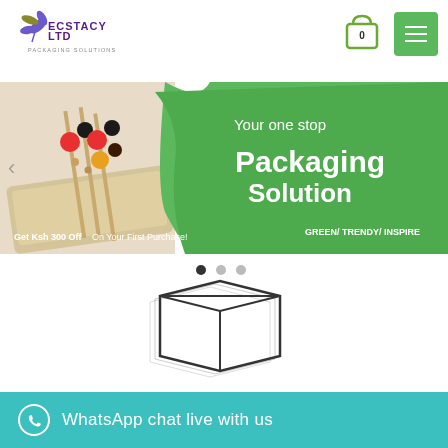[Figure (logo): Ecstacy Ltd Packaging Solutions logo - purple/olive stylized leaf/flower with text ECSTACY LTD PACKAGING SOLUTIONS]
[Figure (other): Shopping cart icon with 0 badge and green hamburger menu button]
[Figure (other): Promotional banner: left half shows food skewers on wooden board; right half green background with text 'Your one stop Packaging Solution GREEN/ TRENDY/ INSPIRE' and 'Get Ksh 300 Off On Your First Purchase!']
[Figure (other): Three carousel dot indicators, first dot active/filled]
[Figure (other): Partial product illustration - box/container line art]
WhatsApp chat live with us